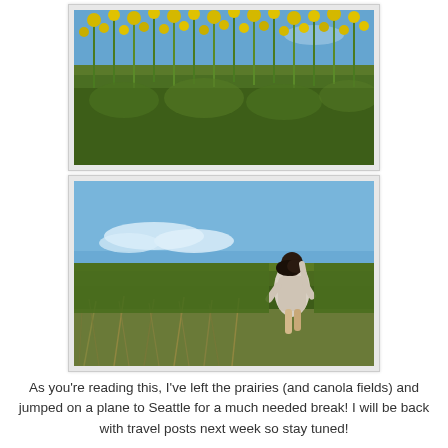[Figure (photo): A field of yellow canola flowers with tall green stems against a bright blue sky, viewed from ground level.]
[Figure (photo): A woman with dark hair standing in a canola field, viewed from behind, wearing a light-colored knit wrap, with blue sky and white clouds in the background.]
As you're reading this, I've left the prairies (and canola fields) and jumped on a plane to Seattle for a much needed break! I will be back with travel posts next week so stay tuned!